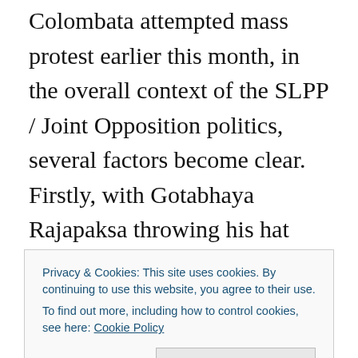Colombata attempted mass protest earlier this month, in the overall context of the SLPP / Joint Opposition politics, several factors become clear. Firstly, with Gotabhaya Rajapaksa throwing his hat into the ring as it were to be the political heir apparent of term limit barred Mahinda Rajapaksa, this was the reminder by the eldest offspring, that there is age limit barred sons also waiting in the wings. For young Namal Rajapaksa, this was his first foray into an attempted mass mobilization, he seemingly being more familiar with the more youthful forums of social media. Accordingly, in retrospect, the most charitable
Privacy & Cookies: This site uses cookies. By continuing to use this website, you agree to their use.
To find out more, including how to control cookies, see here: Cookie Policy
Close and accept
thousand supporters to Colombo and toppling the